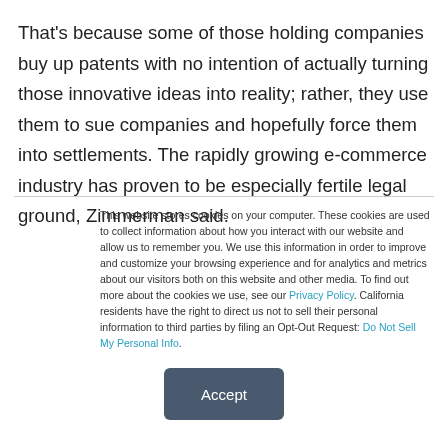That's because some of those holding companies buy up patents with no intention of actually turning those innovative ideas into reality; rather, they use them to sue companies and hopefully force them into settlements. The rapidly growing e-commerce industry has proven to be especially fertile legal ground, Zimmerman said.
This website stores cookies on your computer. These cookies are used to collect information about how you interact with our website and allow us to remember you. We use this information in order to improve and customize your browsing experience and for analytics and metrics about our visitors both on this website and other media. To find out more about the cookies we use, see our Privacy Policy. California residents have the right to direct us not to sell their personal information to third parties by filing an Opt-Out Request: Do Not Sell My Personal Info.
Accept